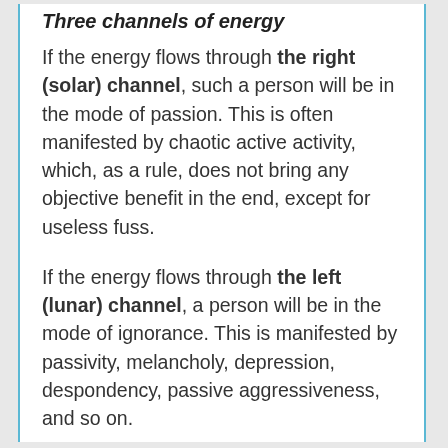Three channels of energy
If the energy flows through the right (solar) channel, such a person will be in the mode of passion. This is often manifested by chaotic active activity, which, as a rule, does not bring any objective benefit in the end, except for useless fuss.
If the energy flows through the left (lunar) channel, a person will be in the mode of ignorance. This is manifested by passivity, melancholy, depression, despondency, passive aggressiveness, and so on.
If the energy flows through the central